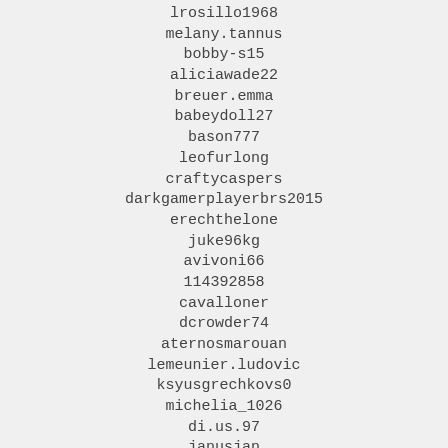lrosillo1968
melany.tannus
bobby-s15
aliciawade22
breuer.emma
babeydoll27
bason777
leofurlong
craftycaspers
darkgamerplayerbrs2015
erechthelone
juke96kg
avivoni66
114392858
cavalloner
dcrowder74
aternosmarouan
lemeunier.ludovic
ksyusgrechkovs0
michelia_1026
di.us.97
janusjan
chubz13245
matteo262